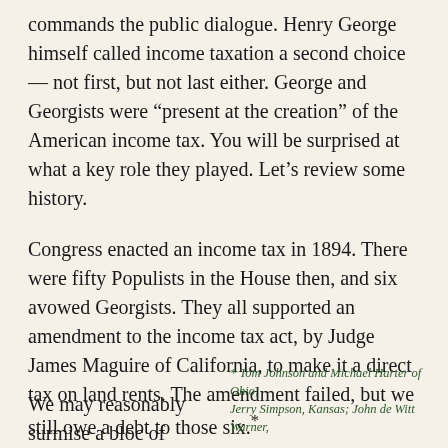commands the public dialogue. Henry George himself called income taxation a second choice — not first, but not last either. George and Georgists were “present at the creation” of the American income tax. You will be surprised at what a key role they played. Let’s review some history.
Congress enacted an income tax in 1894. There were fifty Populists in the House then, and six avowed Georgists. They all supported an amendment to the income tax act, by Judge James Maguire of California, to make it a direct tax on land rents. The amendment failed, but we still owe a debt to those six.*
We may reasonably surmise a bloc of
* Tom Johnson and Michael Harter of Ohio; Jerry Simpson, Kansas; John de Witt Warner,